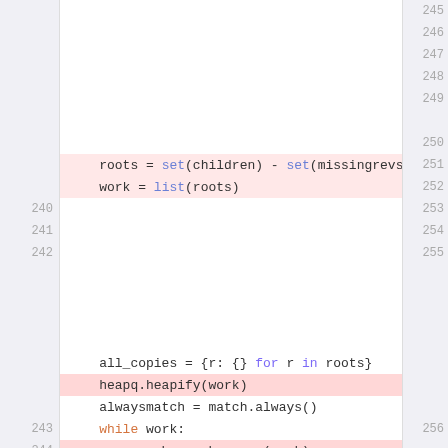[Figure (screenshot): Code diff viewer showing Python source code with line numbers on left and right sides. Lines 240-249 visible on left gutter, lines 245-259 visible on right gutter. Lines 241-242 highlighted in light pink (diff context), line 244 and 247 highlighted in darker red (diff changes). Code shows Python logic including set operations, list creation, heapq operations, and a while loop.]